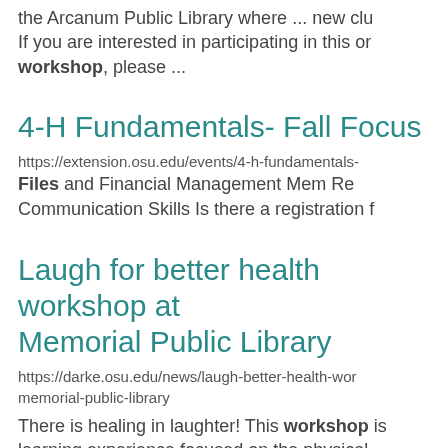the Arcanum Public Library where ... new clu If you are interested in participating in this or workshop, please ...
4-H Fundamentals- Fall Focus
https://extension.osu.edu/events/4-h-fundamentals-
Files and Financial Management Member Rec Communication Skills Is there a registration f
Laugh for better health workshop at Memorial Public Library
https://darke.osu.edu/news/laugh-better-health-wor memorial-public-library
There is healing in laughter! This workshop is learning experience focused on the physical ...